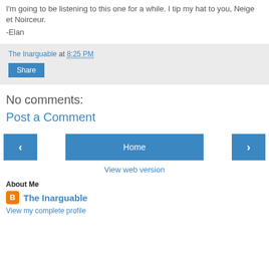I'm going to be listening to this one for a while. I tip my hat to you, Neige et Noirceur.
-Elan
The Inarguable at 8:25 PM
Share
No comments:
Post a Comment
Home
View web version
About Me
The Inarguable
View my complete profile